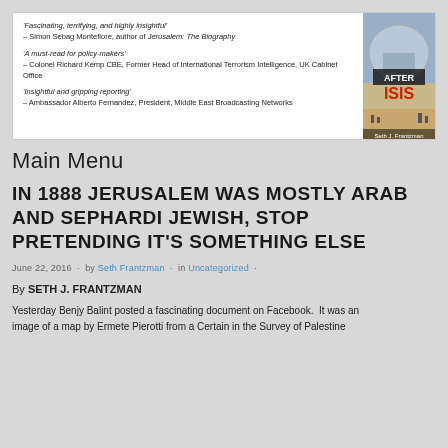[Figure (other): Book advertisement banner for 'After ISIS' with endorsement quotes and book cover image showing a domed building]
Main Menu
IN 1888 JERUSALEM WAS MOSTLY ARAB AND SEPHARDI JEWISH, STOP PRETENDING IT'S SOMETHING ELSE
June 22, 2016 · by Seth Frantzman · in Uncategorized ·
By SETH J. FRANTZMAN
Yesterday Benjy Balint posted a fascinating document on Facebook.  It was an image of a map by Ermete Pierotti from a Certain in the Survey of Palestine